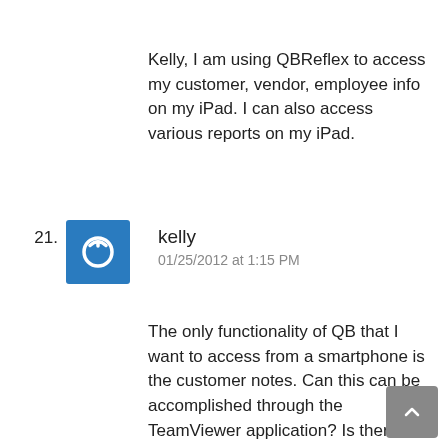Kelly, I am using QBReflex to access my customer, vendor, employee info on my iPad. I can also access various reports on my iPad.
21. kelly — 01/25/2012 at 1:15 PM
The only functionality of QB that I want to access from a smartphone is the customer notes. Can this can be accomplished through the TeamViewer application? Is there any other way to download the Customer/Notes to a smartphone before I leave town so that I can access while away (without